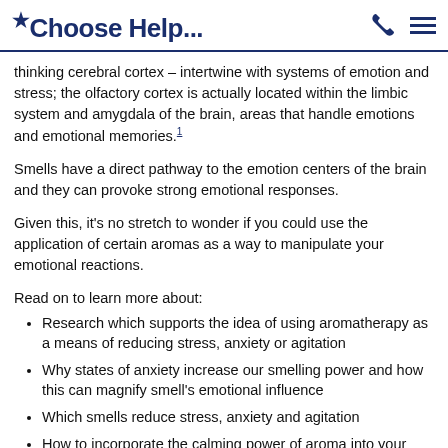*Choose Help...
thinking cerebral cortex – intertwine with systems of emotion and stress; the olfactory cortex is actually located within the limbic system and amygdala of the brain, areas that handle emotions and emotional memories.1
Smells have a direct pathway to the emotion centers of the brain and they can provoke strong emotional responses.
Given this, it's no stretch to wonder if you could use the application of certain aromas as a way to manipulate your emotional reactions.
Read on to learn more about:
Research which supports the idea of using aromatherapy as a means of reducing stress, anxiety or agitation
Why states of anxiety increase our smelling power and how this can magnify smell's emotional influence
Which smells reduce stress, anxiety and agitation
How to incorporate the calming power of aroma into your daily routine